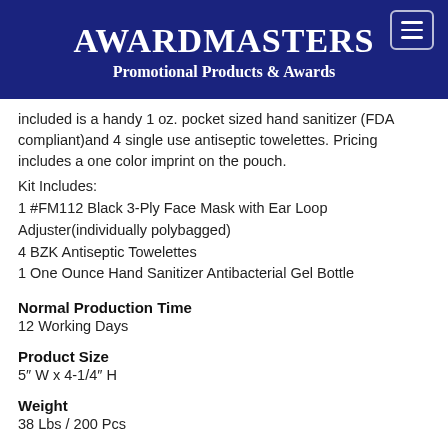AWARDMASTERS
Promotional Products & Awards
included is a handy 1 oz. pocket sized hand sanitizer (FDA compliant) and 4 single use antiseptic towelettes. Pricing includes a one color imprint on the pouch.
Kit Includes:
1 #FM112 Black 3-Ply Face Mask with Ear Loop Adjuster(individually polybagged)
4 BZK Antiseptic Towelettes
1 One Ounce Hand Sanitizer Antibacterial Gel Bottle
Normal Production Time
12 Working Days
Product Size
5″ W x 4-1/4″ H
Weight
38 Lbs / 200 Pcs